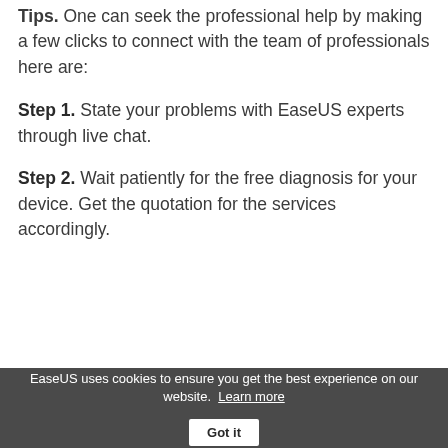Tips. One can seek the professional help by making a few clicks to connect with the team of professionals here are:
Step 1. State your problems with EaseUS experts through live chat.
Step 2. Wait patiently for the free diagnosis for your device. Get the quotation for the services accordingly.
EaseUS uses cookies to ensure you get the best experience on our website.  Learn more  Got it